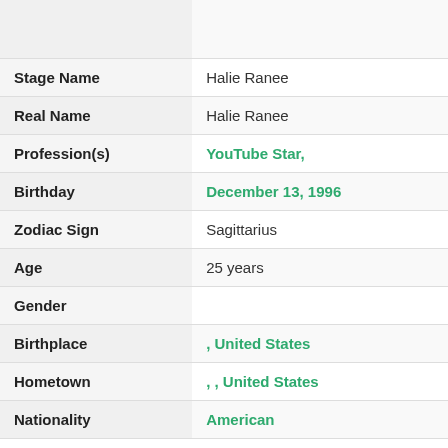| Field | Value |
| --- | --- |
|  |  |
| Stage Name | Halie Ranee |
| Real Name | Halie Ranee |
| Profession(s) | YouTube Star, |
| Birthday | December 13, 1996 |
| Zodiac Sign | Sagittarius |
| Age | 25 years |
| Gender |  |
| Birthplace | , United States |
| Hometown | , , United States |
| Nationality | American |
Halie Ranee Family
|  |  |
| --- | --- |
|  | Father: |